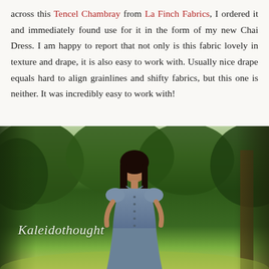across this Tencel Chambray from La Finch Fabrics, I ordered it and immediately found use for it in the form of my new Chai Dress. I am happy to report that not only is this fabric lovely in texture and drape, it is also easy to work with. Usually nice drape equals hard to align grainlines and shifty fabrics, but this one is neither. It was incredibly easy to work with!
[Figure (photo): A young woman with long dark hair wearing a blue-grey denim chambray button-front dress with short puffed sleeves and a fitted waist, standing outdoors against a background of green trees and grass. Watermark reads 'Kaleidothought'.]